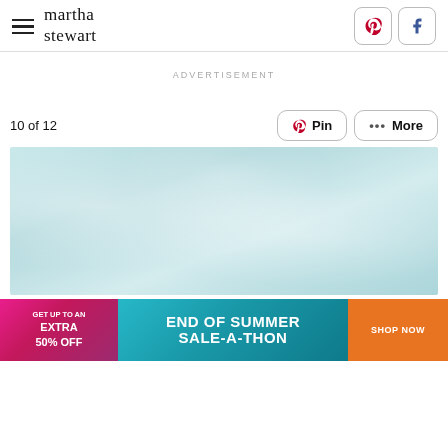martha stewart
ADVERTISEMENT
10 of 12
[Figure (screenshot): Pin and More share buttons]
[Figure (photo): Light blue/teal textured background, possibly fabric or snow]
[Figure (infographic): Advertisement banner: GET UP TO AN EXTRA 50% OFF - END OF SUMMER SALE-A-THON - SHOP NOW]